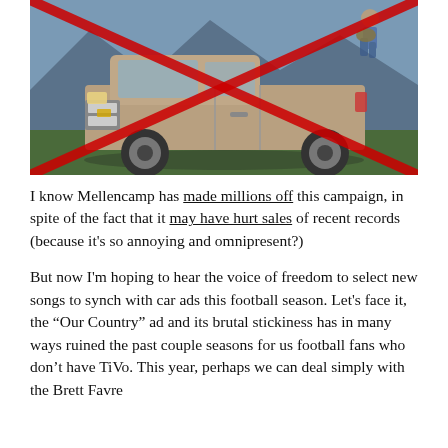[Figure (photo): Photo of a Chevrolet pickup truck (silver/tan) parked outdoors with mountains in the background. A large red X is drawn over the image. In the top right corner there is a faint image of a person playing guitar.]
I know Mellencamp has made millions off this campaign, in spite of the fact that it may have hurt sales of recent records (because it's so annoying and omnipresent?)
But now I'm hoping to hear the voice of freedom to select new songs to synch with car ads this football season. Let's face it, the “Our Country” ad and its brutal stickiness has in many ways ruined the past couple seasons for us football fans who don’t have TiVo. This year, perhaps we can deal simply with the Brett Favre